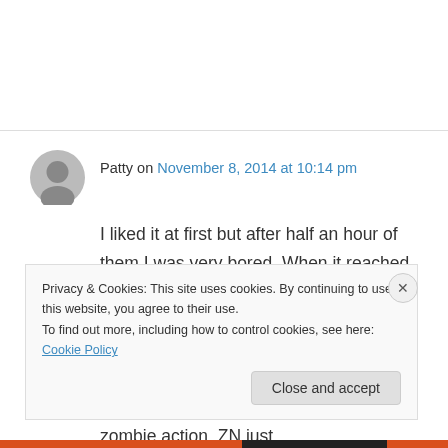Patty on November 8, 2014 at 10:14 pm
I liked it at first but after half an hour of them I was very bored. When it reached 45 minutes I had a feeling the whole hour was going to be just the two if them. What a waste of a show – thirty minutes tops and then go on to something else preferably with some zombie action. ZN just
Privacy & Cookies: This site uses cookies. By continuing to use this website, you agree to their use.
To find out more, including how to control cookies, see here: Cookie Policy
Close and accept